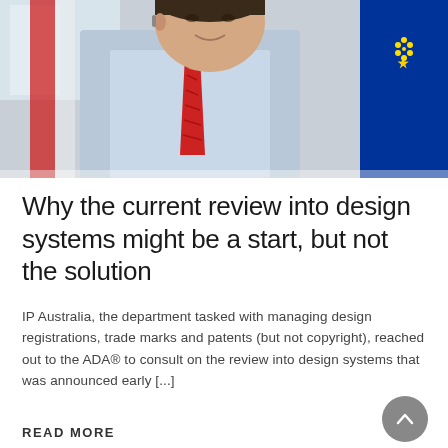[Figure (photo): A man in a light blue shirt and red tie speaking or gesturing, with flags visible in the background including what appears to be an EU flag with yellow stars on blue background]
Why the current review into design systems might be a start, but not the solution
IP Australia, the department tasked with managing design registrations, trade marks and patents (but not copyright), reached out to the ADA® to consult on the review into design systems that was announced early [...]
READ MORE